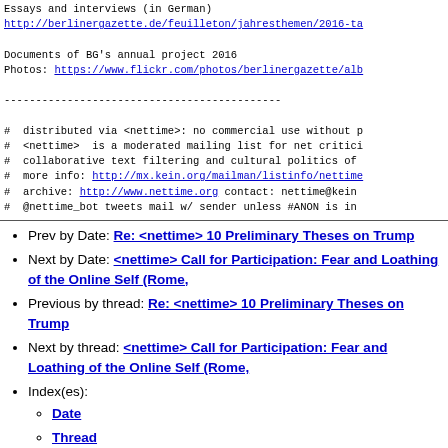Essays and interviews (in German)
http://berlinergazette.de/feuilleton/jahresthemen/2016-ta
Documents of BG's annual project 2016
Photos: https://www.flickr.com/photos/berlinergazette/alb
--------------------------------------------
#  distributed via <nettime>: no commercial use without p
#  <nettime>  is a moderated mailing list for net critici
#  collaborative text filtering and cultural politics of
#  more info: http://mx.kein.org/mailman/listinfo/nettime
#  archive: http://www.nettime.org  contact: nettime@kein
#  @nettime_bot tweets mail w/ sender unless #ANON is in
Prev by Date: Re: <nettime> 10 Preliminary Theses on Trump
Next by Date: <nettime> Call for Participation: Fear and Loathing of the Online Self (Rome,
Previous by thread: Re: <nettime> 10 Preliminary Theses on Trump
Next by thread: <nettime> Call for Participation: Fear and Loathing of the Online Self (Rome,
Index(es): Date, Thread